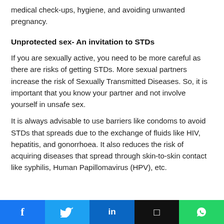medical check-ups, hygiene, and avoiding unwanted pregnancy.
Unprotected sex- An invitation to STDs
If you are sexually active, you need to be more careful as there are risks of getting STDs. More sexual partners increase the risk of Sexually Transmitted Diseases. So, it is important that you know your partner and not involve yourself in unsafe sex.
It is always advisable to use barriers like condoms to avoid STDs that spreads due to the exchange of fluids like HIV, hepatitis, and gonorrhoea. It also reduces the risk of acquiring diseases that spread through skin-to-skin contact like syphilis, Human Papillomavirus (HPV), etc.
f  🐦  in  ☐  WhatsApp